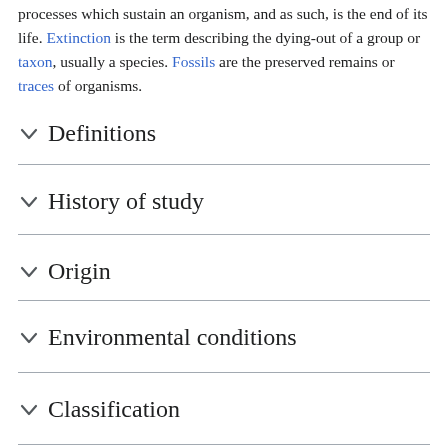processes which sustain an organism, and as such, is the end of its life. Extinction is the term describing the dying-out of a group or taxon, usually a species. Fossils are the preserved remains or traces of organisms.
Definitions
History of study
Origin
Environmental conditions
Classification